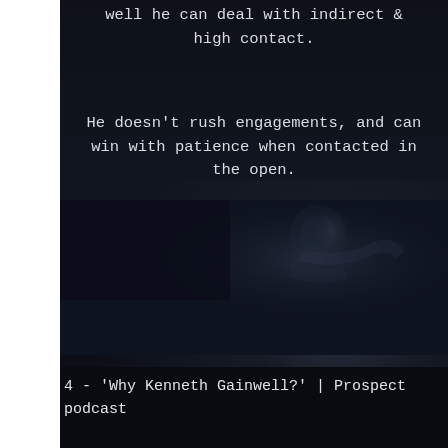well he can deal with indirect & high contact.
He doesn't rush engagements, and can win with patience when contacted in the open.
[Figure (photo): Dark background photo of a football player, dimly lit, appearing to gesture or move, shown from roughly shoulders up against a very dark background.]
Often we see Gainwell stop his feet when defenders come downhill, which is a habit that he will need to break in order to have consistent success in the NFL.
However, you see the ability to pin-ball around through high contact after the initial engagement above.
4 - 'Why Kenneth Gainwell?' | Prospect podcast